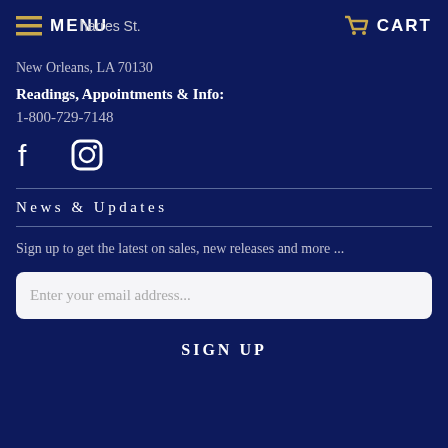MENU   CART
New Orleans, LA 70130
Readings, Appointments & Info:
1-800-729-7148
[Figure (illustration): Facebook and Instagram social media icons in white]
News & Updates
Sign up to get the latest on sales, new releases and more ...
Enter your email address...
SIGN UP